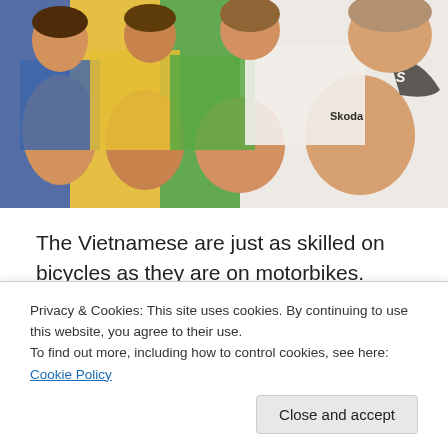[Figure (photo): Group of cyclists/riders wearing colorful cycling jerseys (blue, yellow, green, white) sitting close together, photographed from close up.]
The Vietnamese are just as skilled on bicycles as they are on motorbikes. Everywhere we saw impossible loads, precariously balanced on ancient steel Chinese bicycles,
Privacy & Cookies: This site uses cookies. By continuing to use this website, you agree to their use.
To find out more, including how to control cookies, see here: Cookie Policy
organize and move recyclables, to carry children to